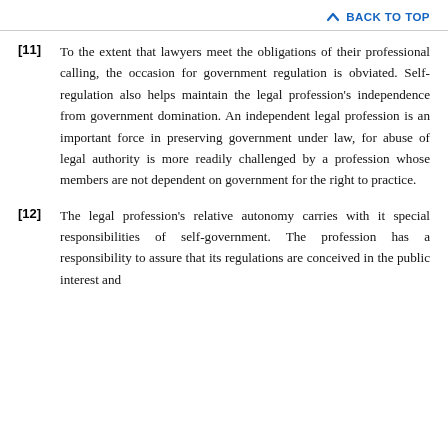BACK TO TOP
[11] To the extent that lawyers meet the obligations of their professional calling, the occasion for government regulation is obviated. Self-regulation also helps maintain the legal profession's independence from government domination. An independent legal profession is an important force in preserving government under law, for abuse of legal authority is more readily challenged by a profession whose members are not dependent on government for the right to practice.
[12] The legal profession's relative autonomy carries with it special responsibilities of self-government. The profession has a responsibility to assure that its regulations are conceived in the public interest and